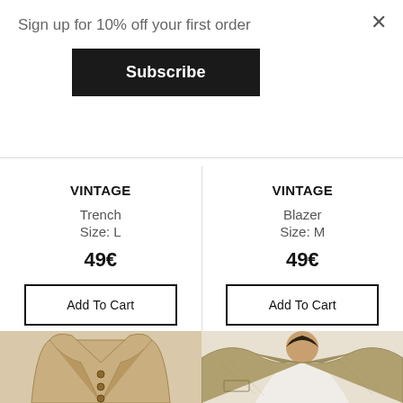Sign up for 10% off your first order
×
Subscribe
VINTAGE
Trench
Size: L
49€
Add To Cart
VINTAGE
Blazer
Size: M
49€
Add To Cart
[Figure (photo): Light beige/tan trench coat laid flat, showing lapels and buttons]
[Figure (photo): Person wearing a light brown/olive tweed blazer, close-up on collar/chest area with white top visible underneath]